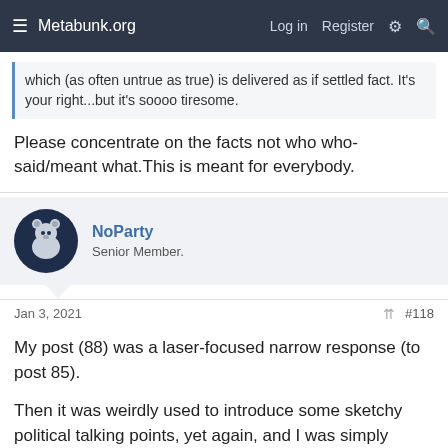Metabunk.org   Log in   Register
which (as often untrue as true) is delivered as if settled fact. It's your right...but it's soooo tiresome.
Please concentrate on the facts not who who-said/meant what.This is meant for everybody.
NoParty
Senior Member.
Jan 3, 2021   #118
My post (88) was a laser-focused narrow response (to post 85).
Then it was weirdly used to introduce some sketchy political talking points, yet again, and I was simply trying to discourage that.
1